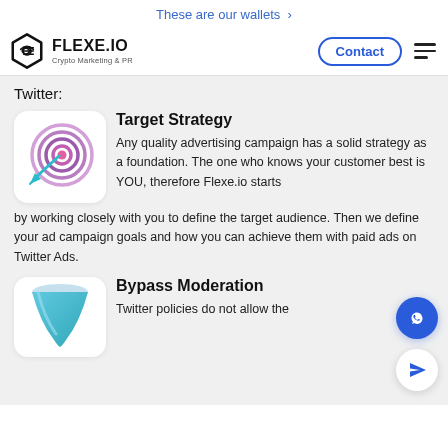These are our wallets >
[Figure (logo): FLEXE.IO Crypto Marketing & PR logo with hexagon icon]
Twitter:
Target Strategy
[Figure (illustration): Colorful target/bullseye with arrow icon]
Any quality advertising campaign has a solid strategy as a foundation. The one who knows your customer best is YOU, therefore Flexe.io starts by working closely with you to define the target audience. Then we define your ad campaign goals and how you can achieve them with paid ads on Twitter Ads.
Bypass Moderation
[Figure (illustration): Blue-green funnel/filter icon]
Twitter policies do not allow the